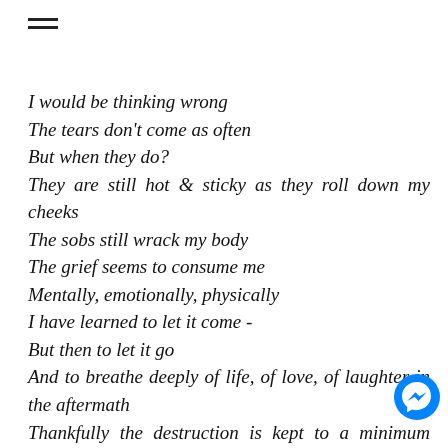I would be thinking wrong
The tears don't come as often
But when they do?
They are still hot & sticky as they roll down my cheeks
The sobs still wrack my body
The grief seems to consume me
Mentally, emotionally, physically
I have learned to let it come -
But then to let it go
And to breathe deeply of life, of love, of laughter in the aftermath
Thankfully the destruction is kept to a minimum these days
The grief seems to have more of a healing effect on me now than what it did in the early days, weeks &